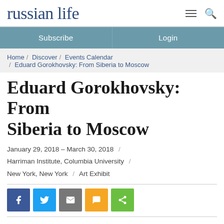russian life
Subscribe / Login
Home / Discover / Events Calendar / Eduard Gorokhovsky: From Siberia to Moscow
Eduard Gorokhovsky: From Siberia to Moscow
January 29, 2018 – March 30, 2018 / Harriman Institute, Columbia University / New York, New York / Art Exhibit
[Figure (infographic): Social sharing buttons: Facebook (blue), Twitter (light blue), Email (gray), SMS (yellow/orange), Share (green)]